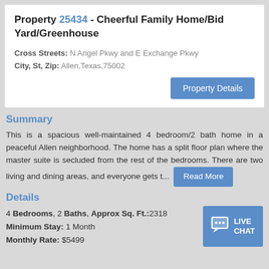Property 25434 - Cheerful Family Home/Bid Yard/Greenhouse
Cross Streets: N Angel Pkwy and E Exchange Pkwy
City, St, Zip: Allen,Texas,75002
Summary
This is a spacious well-maintained 4 bedroom/2 bath home in a peaceful Allen neighborhood. The home has a split floor plan where the master suite is secluded from the rest of the bedrooms. There are two living and dining areas, and everyone gets t...
Details
4 Bedrooms, 2 Baths, Approx Sq. Ft.:2318
Minimum Stay: 1 Month
Monthly Rate: $5499